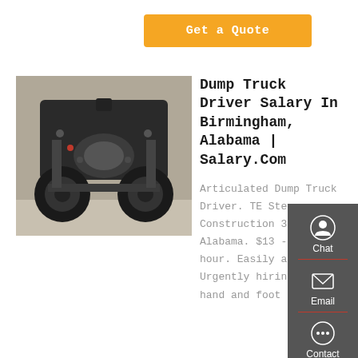Get a Quote
[Figure (photo): Underside of a dump truck showing wheels, axles, and chassis components viewed from below]
Dump Truck Driver Salary In Birmingham, Alabama | Salary.Com
Articulated Dump Truck Driver. TE Stevens Construction 3.5. Alabama. $13 - $22 an hour. Easily apply. Urgently hiring. Move hand and foot controls